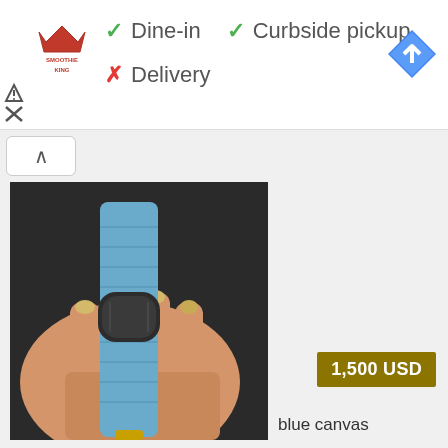[Figure (logo): Smoothie King logo — red crown icon with brand name]
✓ Dine-in  ✓ Curbside pickup
✗ Delivery
[Figure (logo): Google Maps navigation icon — blue diamond with right-turn arrow]
[Figure (photo): Hand holding a blue canvas watch strap with a dark grey leather/metal clasp piece]
1,500 USD
blue canvas